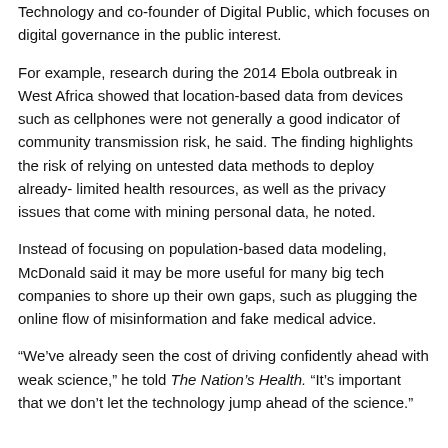Technology and co-founder of Digital Public, which focuses on digital governance in the public interest.
For example, research during the 2014 Ebola outbreak in West Africa showed that location-based data from devices such as cellphones were not generally a good indicator of community transmission risk, he said. The finding highlights the risk of relying on untested data methods to deploy already- limited health resources, as well as the privacy issues that come with mining personal data, he noted.
Instead of focusing on population-based data modeling, McDonald said it may be more useful for many big tech companies to shore up their own gaps, such as plugging the online flow of misinformation and fake medical advice.
“We’ve already seen the cost of driving confidently ahead with weak science,” he told The Nation’s Health. “It’s important that we don’t let the technology jump ahead of the science.”